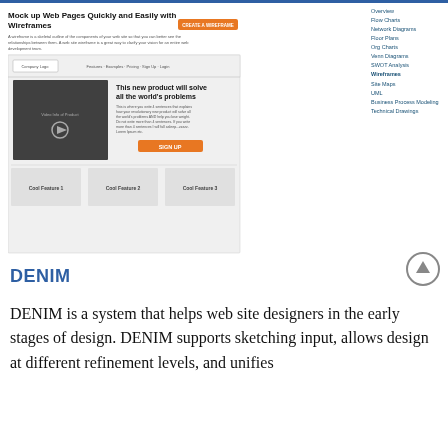[Figure (screenshot): Screenshot of a wireframe web page builder interface showing 'Mock up Web Pages Quickly and Easily with Wireframes' with navigation menu on right side including Overview, Flow Charts, Network Diagrams, Floor Plans, Org Charts, Venn Diagrams, SWOT Analysis, Wireframes (bold/active), Site Maps, UML, Business Process Modeling, Technical Drawings. The wireframe shows a website mockup with Company Logo, navigation links (Features, Examples, Pricing, Sign Up, Login), a video placeholder, headline 'This new product will solve all the world's problems', descriptive text, SIGN UP button, and three feature boxes (Cool Feature 1, Cool Feature 2, Cool Feature 3).]
DENIM
DENIM is a system that helps web site designers in the early stages of design. DENIM supports sketching input, allows design at different refinement levels, and unifies